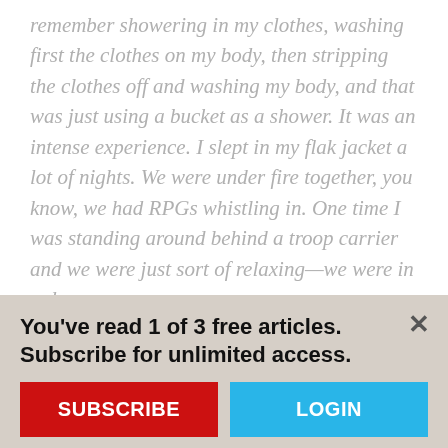remember showering in my clothes, washing first the clothes on my body, then stripping the clothes off and washing my body, and that was just using a bucket as a shower. It was an intense experience. I slept in my flak jacket a lot of nights. We were under fire together, you know, we had RPGs whistling in. One time I was standing around behind a troop carrier and we were just sort of relaxing—we were in a down
You've read 1 of 3 free articles. Subscribe for unlimited access.
SUBSCRIBE
LOGIN
Yahoo Search
Win Your Truck-Wreck Case
OPEN